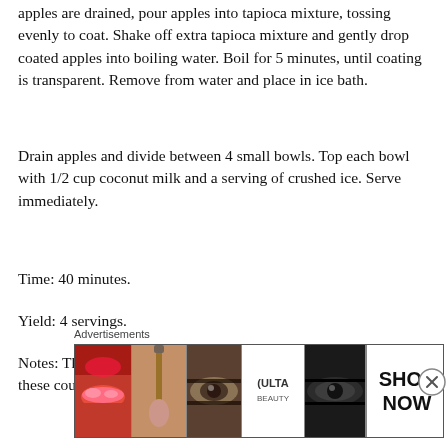apples are drained, pour apples into tapioca mixture, tossing evenly to coat. Shake off extra tapioca mixture and gently drop coated apples into boiling water. Boil for 5 minutes, until coating is transparent. Remove from water and place in ice bath.
Drain apples and divide between 4 small bowls. Top each bowl with 1/2 cup coconut milk and a serving of crushed ice. Serve immediately.
Time: 40 minutes.
Yield: 4 servings.
Notes: This dish is traditionally made with water chestnuts so these could be used in place of the apples if you wish
Advertisements
[Figure (photo): Ulta Beauty advertisement banner showing makeup product imagery including lips, makeup brush, eye makeup, Ulta logo, and eye close-ups with 'SHOP NOW' call to action]